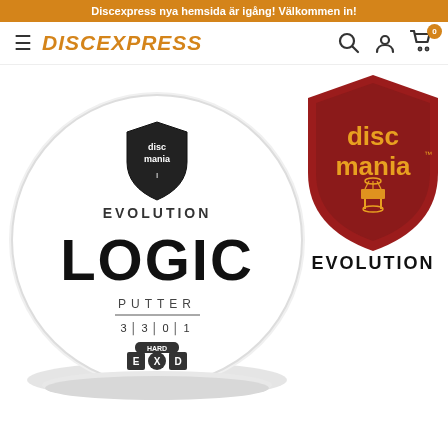Discexpress nya hemsida är igång! Välkommen in!
[Figure (screenshot): Discexpress website header with hamburger menu, DISCEXPRESS logo in orange italic, search icon, user icon, and cart icon with badge showing 0]
[Figure (photo): White Discmania Evolution Logic Putter disc golf disc, showing the disc face with Discmania shield logo, EVOLUTION text, LOGIC in large letters, PUTTER text, flight numbers 3|3|0|1, and EXD HARD plastic badge. The disc is photographed at an angle showing its rim.]
[Figure (logo): Discmania brand logo: red shield shape with 'disc mania' in yellow/gold text and a disc basket icon, below it reads EVOLUTION in dark text]